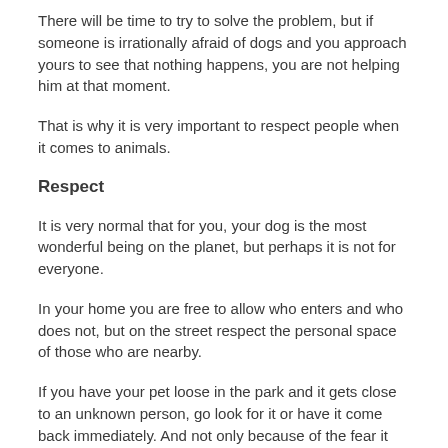There will be time to try to solve the problem, but if someone is irrationally afraid of dogs and you approach yours to see that nothing happens, you are not helping him at that moment.
That is why it is very important to respect people when it comes to animals.
Respect
It is very normal that for you, your dog is the most wonderful being on the planet, but perhaps it is not for everyone.
In your home you are free to allow who enters and who does not, but on the street respect the personal space of those who are nearby.
If you have your pet loose in the park and it gets close to an unknown person, go look for it or have it come back immediately. And not only because of the fear it may suffer, it may also be allergic and you don't know that.